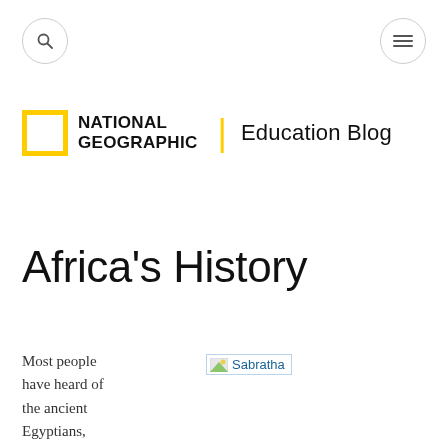National Geographic Education Blog — navigation bar with search and menu icons
[Figure (logo): National Geographic yellow square logo with text 'NATIONAL GEOGRAPHIC' and 'Education Blog' separated by a yellow vertical bar]
Africa's History
Most people have heard of the ancient Egyptians,
[Figure (photo): Sabratha image placeholder (broken image link labeled 'Sabratha')]